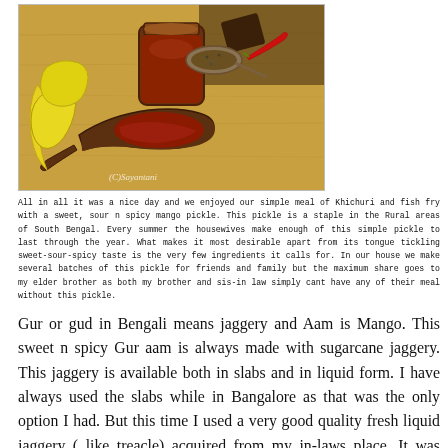[Figure (photo): A wooden cutting board with a jar of mango pickle, a wooden spoon with pickle, sliced raw mangoes, a red chili, a spoon of spices, and a block of jaggery. Watermark: (C)Sayantani]
All in all it was a nice day and we enjoyed our simple meal of Khichuri and fish fry with a sweet, sour n spicy mango pickle. This pickle is a staple in the Rural areas of South Bengal. Every summer the housewives make enough of this simple pickle to last through the year. What makes it most desirable apart from its tongue tickling sweet-sour-spicy taste is the very few ingredients it calls for. In our house we make several batches of this pickle for friends and family but the maximum share goes to my elder brother as both my brother and sis-in law simply cant have any of their meal without this pickle.
Gur or gud in Bengali means jaggery and Aam is Mango. This sweet n spicy Gur aam is always made with sugarcane jaggery. This jaggery is available both in slabs and in liquid form. I have always used the slabs while in Bangalore as that was the only option I had. But this time I used a very good quality fresh liquid jaggery ( like treacle) acquired from my in-laws place. It was almost black which explains for the